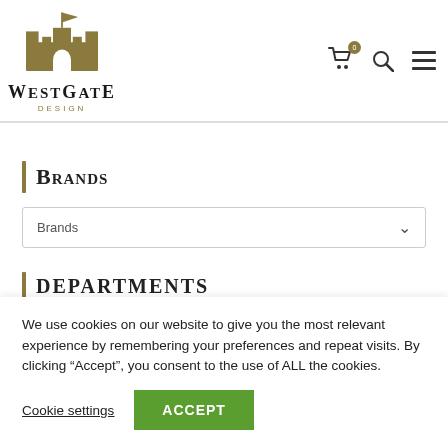[Figure (logo): Westgate Design logo with castle/fort icon in gold/brown and stylized text reading WESTGATE DESIGN]
[Figure (other): Header icons: shopping cart with badge showing 0, search magnifier, hamburger menu]
Brands
[Figure (other): Brands dropdown select box with chevron arrow]
Departments
We use cookies on our website to give you the most relevant experience by remembering your preferences and repeat visits. By clicking “Accept”, you consent to the use of ALL the cookies.
Cookie settings
ACCEPT